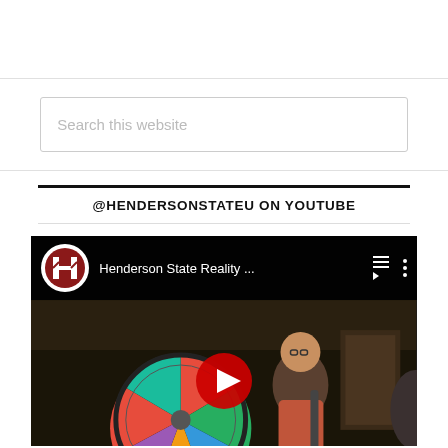[Figure (screenshot): Search bar with placeholder text 'Search this website']
@HENDERSONSTATEU ON YOUTUBE
[Figure (screenshot): YouTube video embed showing Henderson State Reality ... with channel logo and play button overlay, scene shows students at a prize wheel]